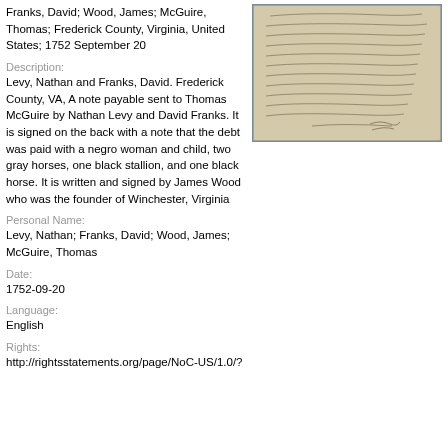Franks, David; Wood, James; McGuire, Thomas; Frederick County, Virginia, United States; 1752 September 20
[Figure (photo): Photograph of a handwritten historical document — a note payable from 1752, with cursive script text and signature.]
Description:
Levy, Nathan and Franks, David. Frederick County, VA, A note payable sent to Thomas McGuire by Nathan Levy and David Franks. It is signed on the back with a note that the debt was paid with a negro woman and child, two gray horses, one black stallion, and one black horse. It is written and signed by James Wood who was the founder of Winchester, Virginia
Personal Name:
Levy, Nathan; Franks, David; Wood, James; McGuire, Thomas
Date:
1752-09-20
Language:
English
Rights:
http://rightsstatements.org/page/NoC-US/1.0/?